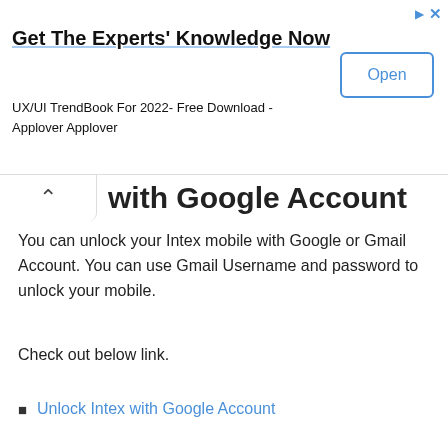[Figure (screenshot): Advertisement banner: 'Get The Experts' Knowledge Now' with subtitle 'UX/UI TrendBook For 2022- Free Download - Applover Applover' and an 'Open' button, plus navigation icons top-right.]
with Google Account
You can unlock your Intex mobile with Google or Gmail Account. You can use Gmail Username and password to unlock your mobile.
Check out below link.
Unlock Intex with Google Account